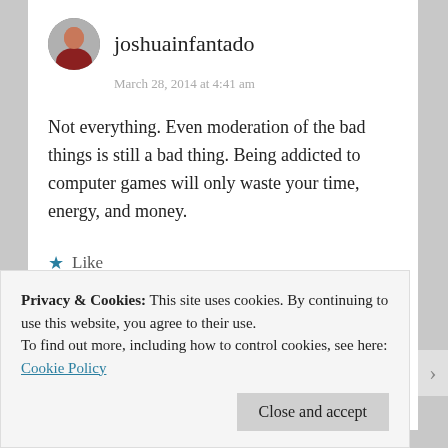joshuainfantado
March 28, 2014 at 4:41 am
Not everything. Even moderation of the bad things is still a bad thing. Being addicted to computer games will only waste your time, energy, and money.
★ Like
Reply
Privacy & Cookies: This site uses cookies. By continuing to use this website, you agree to their use.
To find out more, including how to control cookies, see here: Cookie Policy